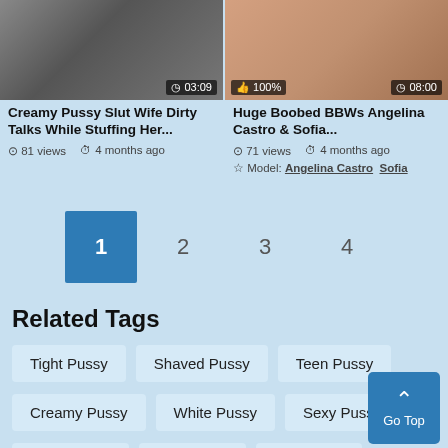[Figure (screenshot): Video thumbnail left - dark toned adult content thumbnail with duration badge 03:09]
Creamy Pussy Slut Wife Dirty Talks While Stuffing Her...
81 views   4 months ago
[Figure (screenshot): Video thumbnail right - adult content thumbnail with 100% like badge and duration 08:00]
Huge Boobed BBWs Angelina Castro & Sofia...
71 views   4 months ago
Model: Angelina Castro  Sofia
1  2  3  4
Related Tags
Tight Pussy
Shaved Pussy
Teen Pussy
Creamy Pussy
White Pussy
Sexy Pussy
Thick Pussy
Wet Pussy
Ass Pussy